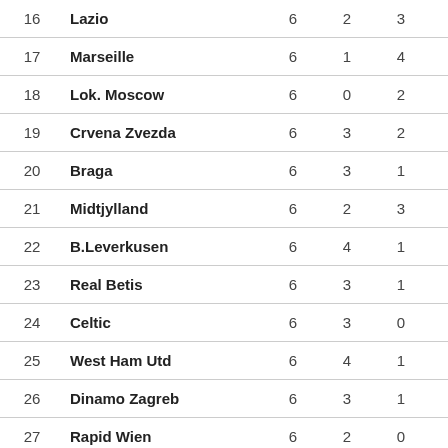| # | Team | P | W | D | L | Pts |
| --- | --- | --- | --- | --- | --- | --- |
| 16 | Lazio | 6 | 2 | 3 | 1 | 9 |
| 17 | Marseille | 6 | 1 | 4 | 1 | 7 |
| 18 | Lok. Moscow | 6 | 0 | 2 | 4 | 2 |
| 19 | Crvena Zvezda | 6 | 3 | 2 | 1 | 11 |
| 20 | Braga | 6 | 3 | 1 | 2 | 10 |
| 21 | Midtjylland | 6 | 2 | 3 | 1 | 9 |
| 22 | B.Leverkusen | 6 | 4 | 1 | 1 | 13 |
| 23 | Real Betis | 6 | 3 | 1 | 2 | 10 |
| 24 | Celtic | 6 | 3 | 0 | 3 | 9 |
| 25 | West Ham Utd | 6 | 4 | 1 | 1 | 13 |
| 26 | Dinamo Zagreb | 6 | 3 | 1 | 2 | 10 |
| 27 | Rapid Wien | 6 | 2 | 0 | 4 | 6 |
| 28 | ... | 6 | 1 | 2 | 3 | 5 |